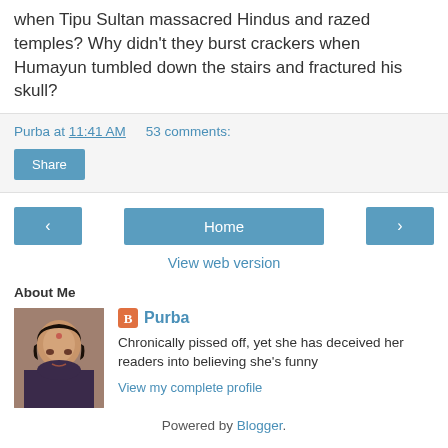when Tipu Sultan massacred Hindus and razed temples? Why didn’t they burst crackers when Humayun tumbled down the stairs and fractured his skull?
Purba at 11:41 AM   53 comments:
Share
‹   Home   ›
View web version
About Me
[Figure (photo): Profile photo of Purba, a woman with dark hair]
Purba
Chronically pissed off, yet she has deceived her readers into believing she’s funny
View my complete profile
Powered by Blogger.